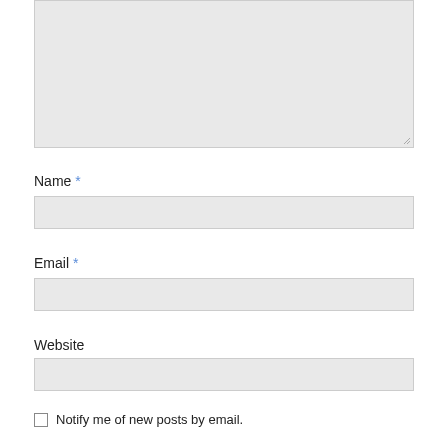[Figure (screenshot): A textarea input box (comment/text area) with a light grey background and a resize handle in the bottom-right corner.]
Name *
[Figure (screenshot): A text input field for Name, light grey background.]
Email *
[Figure (screenshot): A text input field for Email, light grey background.]
Website
[Figure (screenshot): A text input field for Website, light grey background.]
Notify me of new posts by email.